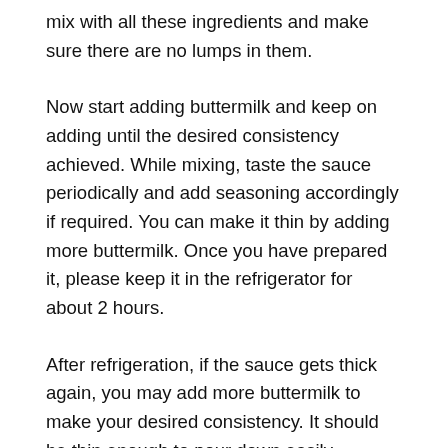mix with all these ingredients and make sure there are no lumps in them.
Now start adding buttermilk and keep on adding until the desired consistency achieved. While mixing, taste the sauce periodically and add seasoning accordingly if required. You can make it thin by adding more buttermilk. Once you have prepared it, please keep it in the refrigerator for about 2 hours.
After refrigeration, if the sauce gets thick again, you may add more buttermilk to make your desired consistency. It should be thin enough to pour down easily.
Ready to serve:
So, now the ranch dressing ready to serve with hot and spicy chicken wings, pizza, and many more items. Ready made